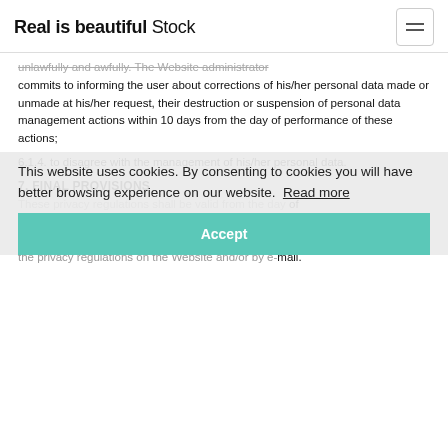Real is beautiful Stock
unlawfully and awfully. The website administrator commits to informing the user about corrections of his/her personal data made or unmade at his/her request, their destruction or suspension of personal data management actions within 10 days from the day of performance of these actions;
6.1.4. to disagree with the management of his/her personal data.
7. FINAL PROVISIONS
These privacy regulations shall be valid from the day of their publication on the Website. Any supplements to the privacy regulations on the Website and/or by e-mail.
This website uses cookies. By consenting to cookies you will have better browsing experience on our website. Read more
Partners
Sound recording studio
Idea and strategy